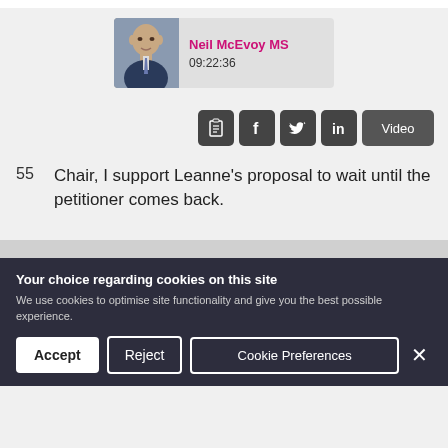[Figure (photo): Profile photo of Neil McEvoy MS with name and timestamp 09:22:36]
[Figure (infographic): Row of social/sharing icon buttons: clipboard, Facebook, Twitter, LinkedIn, and Video button]
55  Chair, I support Leanne's proposal to wait until the petitioner comes back.
Your choice regarding cookies on this site
We use cookies to optimise site functionality and give you the best possible experience.
Accept  Reject  Cookie Preferences  ×